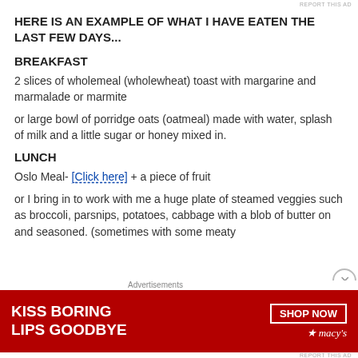REPORT THIS AD
HERE IS AN EXAMPLE OF WHAT I HAVE EATEN THE LAST FEW DAYS...
BREAKFAST
2 slices of wholemeal (wholewheat) toast with margarine and marmalade or marmite
or large bowl of porridge oats (oatmeal) made with water, splash of milk and a little sugar or honey mixed in.
LUNCH
Oslo Meal- [Click here] + a piece of fruit
or I bring in to work with me a huge plate of steamed veggies such as broccoli, parsnips, potatoes, cabbage with a blob of butter on and seasoned. (sometimes with some meaty
Advertisements
[Figure (photo): Advertisement banner: KISS BORING LIPS GOODBYE / SHOP NOW / macys logo with star]